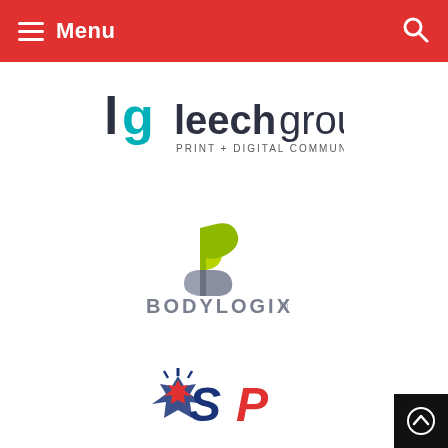Menu
[Figure (logo): Leech Group logo — 'lg leechgroup PRINT + DIGITAL COMMUNICATIONS']
[Figure (logo): Bodylogix logo — stylized B mark above BODYLOGIX wordmark]
[Figure (logo): SP (Sport Chek / Sports sponsor) logo — red maple leaf star with blue and red SP letters]